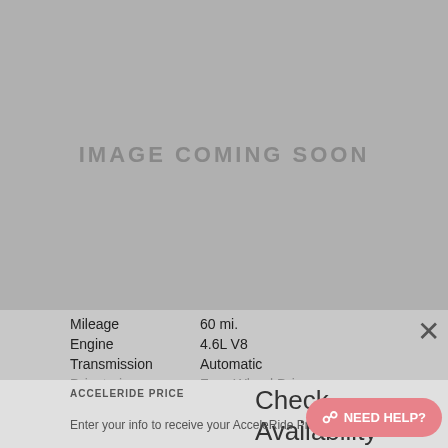[Figure (photo): Gray placeholder image with text 'IMAGE COMING SOON']
Mileage   60 mi.
Engine   4.6L V8
Transmission   Automatic
Drivetrain   Four-Wheel Drive
VIN JTJAM7BX1N5335660
Stock N5335660
Check Availability
ACCELERIDE PRICE
Enter your info to receive your AcceleRide Price on this vehicle
NEED HELP?